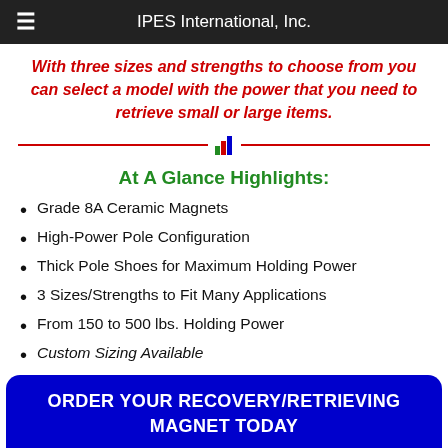IPES International, Inc.
With three sizes and strengths to choose from you can select a model with the power that you need to retrieve small or large items.
[Figure (other): Decorative red horizontal divider line with small bar chart icon in the center]
At A Glance Highlights:
Grade 8A Ceramic Magnets
High-Power Pole Configuration
Thick Pole Shoes for Maximum Holding Power
3 Sizes/Strengths to Fit Many Applications
From 150 to 500 lbs. Holding Power
Custom Sizing Available
ORDER YOUR RECOVERY/RETRIEVING MAGNET TODAY